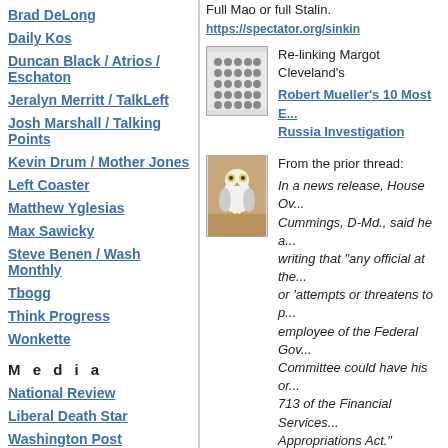Brad DeLong
Daily Kos
Duncan Black / Atrios / Eschaton
Jeralyn Merritt / TalkLeft
Josh Marshall / Talking Points
Kevin Drum / Mother Jones
Left Coaster
Matthew Yglesias
Max Sawicky
Steve Benen / Wash Monthly
Tbogg
Think Progress
Wonkette
M e d i a
National Review
Liberal Death Star
Washington Post
Full Mao or full Stalin.
https://spectator.org/sinkin
[Figure (photo): Grid of dots/spheres arranged in rows]
Re-linking Margot Cleveland's
Robert Mueller's 10 Most E... Russia Investigation
[Figure (photo): White owl sitting on stairs]
From the prior thread:
In a news release, House Ov... Cummings, D-Md., said he a... writing that "any official at the... or 'attempts or threatens to p... employee of the Federal Gov... Committee could have his or... 713 of the Financial Services... Appropriations Act."
Good. Let the Democrats set... the same in return as neede...